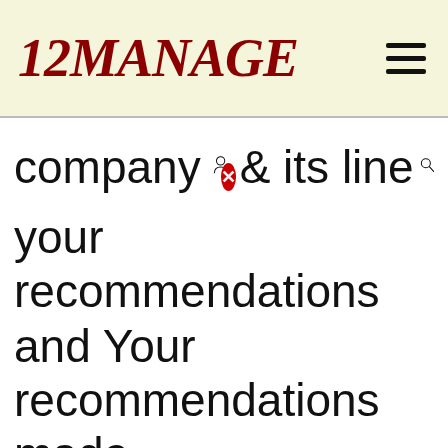12MANAGE
company & its line your recommendations and Your recommendations made in your MBA / BBA thesis don’t end up in